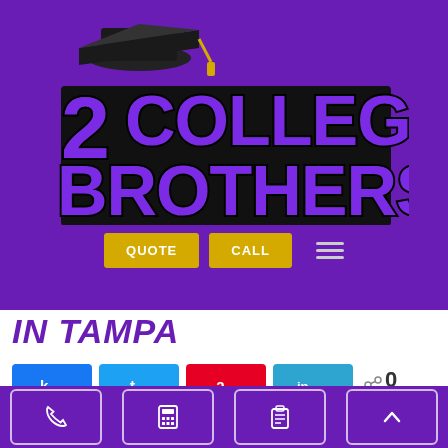[Figure (logo): 2 College Brothers moving company logo: graduation cap above large yellow text '2 COLLEGE BROTHERS' on purple background]
IN TAMPA
[Figure (infographic): Social share buttons: Facebook (k icon), Twitter, Pinterest (a icon), LinkedIn (in icon), with share count 0 SHARES]
Are you relocating an office for a better location or more
Phone | Calculator | Clipboard | Up arrow — footer navigation icons